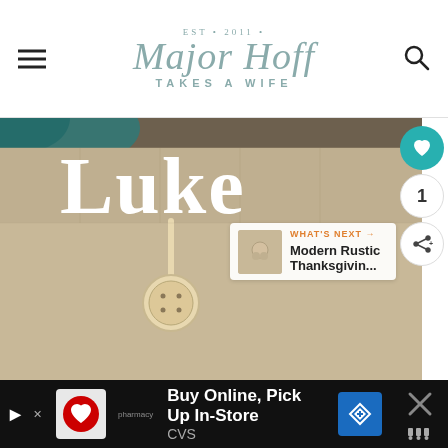Major Hoff Takes a Wife — EST 2011
[Figure (photo): Close-up photo of a burlap/linen Christmas stocking with the name 'Luke' in white letters and a cream button closure]
[Figure (photo): What's Next thumbnail — small photo of jewelry/earrings with caption 'Modern Rustic Thanksgivin...']
[Figure (infographic): CVS advertisement banner: 'Buy Online, Pick Up In-Store' with CVS pharmacy logo and navigation arrow icon]